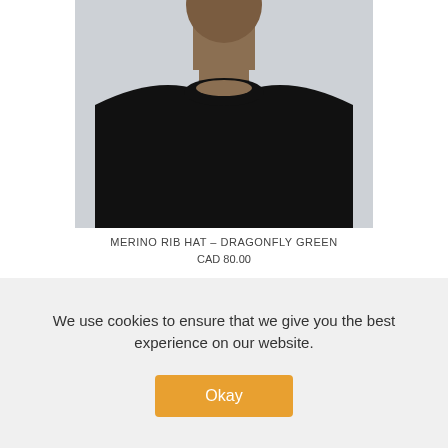[Figure (photo): Man wearing a black merino wool crew-neck sweater, cropped to show neck and torso, against a light gray background.]
MERINO RIB HAT – DRAGONFLY GREEN
CAD 80.00
We use cookies to ensure that we give you the best experience on our website.
Okay